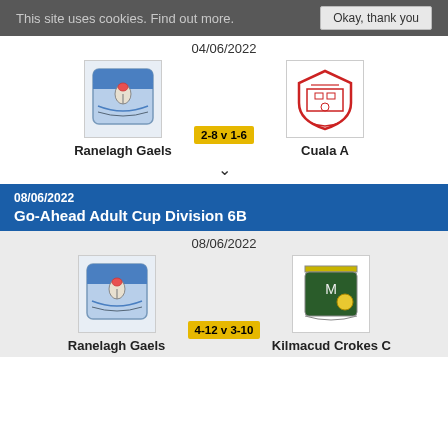This site uses cookies. Find out more.   Okay, thank you
04/06/2022
[Figure (logo): Ranelagh Gaels GAA club crest (blue shield with hot air balloon)]
[Figure (logo): Cuala GAA club crest (red shield outline)]
Ranelagh Gaels   2-8 v 1-6   Cuala A
08/06/2022
Go-Ahead Adult Cup Division 6B
08/06/2022
[Figure (logo): Ranelagh Gaels GAA club crest (blue shield with hot air balloon)]
[Figure (logo): Kilmacud Crokes C GAA club crest (green and gold)]
Ranelagh Gaels   4-12 v 3-10   Kilmacud Crokes C